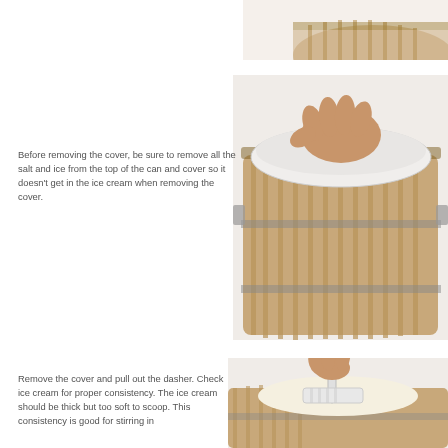[Figure (photo): Top portion of a wooden ice cream bucket, partially visible at the top right of the page.]
[Figure (photo): A hand pressing down a white cloth/towel on top of a wooden ice cream bucket to remove salt and ice before opening the cover.]
Before removing the cover, be sure to remove all the salt and ice from the top of the can and cover so it doesn't get in the ice cream when removing the cover.
[Figure (photo): Hands pulling out the dasher from a wooden ice cream bucket, showing the white dasher paddle and creamy ice cream inside.]
Remove the cover and pull out the dasher. Check ice cream for proper consistency. The ice cream should be thick but too soft to scoop. This consistency is good for stirring in